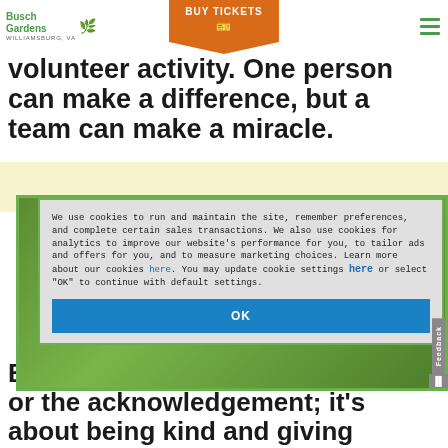Busch Gardens Williamsburg, VA | BUY TICKETS
volunteer activity. One person can make a difference, but a team can make a miracle.
[Figure (screenshot): Cookie consent modal overlay on Busch Gardens website. Text reads: We use cookies to run and maintain the site, remember preferences, and complete certain sales transactions. We also use cookies for analytics to improve our website's performance for you, to tailor ads and offers for you, and to measure marketing choices. Learn more about our cookies here. You may update cookie settings here or select "OK" to continue with default settings. Blue OK button at bottom. Feedback tab on right side.]
Being a hero is not about the title or the acknowledgement; it's about being kind and giving